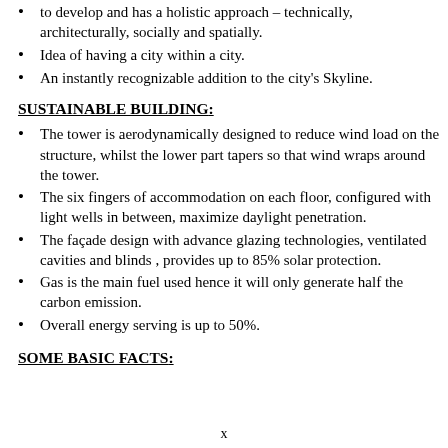to develop and has a holistic approach – technically, architecturally, socially and spatially.
Idea of having a city within a city.
An instantly recognizable addition to the city's Skyline.
SUSTAINABLE BUILDING:
The tower is aerodynamically designed to reduce wind load on the structure, whilst the lower part tapers so that wind wraps around the tower.
The six fingers of accommodation on each floor, configured with light wells in between, maximize daylight penetration.
The façade design with advance glazing technologies, ventilated cavities and blinds , provides up to 85% solar protection.
Gas is the main fuel used hence it will only generate half the carbon emission.
Overall energy serving is up to 50%.
SOME  BASIC  FACTS:
x